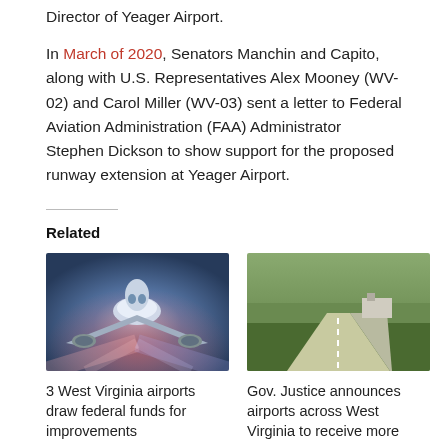Director of Yeager Airport.
In March of 2020, Senators Manchin and Capito, along with U.S. Representatives Alex Mooney (WV-02) and Carol Miller (WV-03) sent a letter to Federal Aviation Administration (FAA) Administrator Stephen Dickson to show support for the proposed runway extension at Yeager Airport.
Related
[Figure (photo): Front-facing airplane with blue/red lighting effect]
3 West Virginia airports draw federal funds for improvements
[Figure (photo): Aerial view of an airport runway surrounded by trees]
Gov. Justice announces airports across West Virginia to receive more